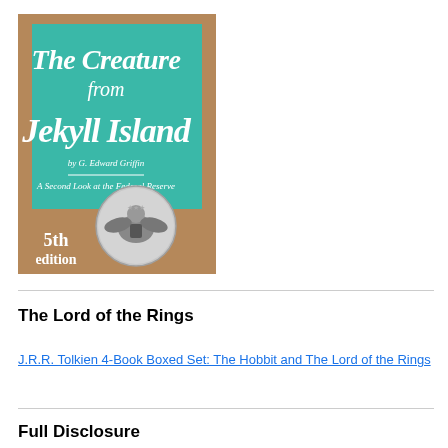[Figure (illustration): Book cover of 'The Creature from Jekyll Island' by G. Edward Griffin, 5th edition. Teal/green upper section with white decorative title text. Brown/tan lower section featuring a US eagle seal medallion. Subtitle: 'A Second Look at the Federal Reserve'. Text '5th edition' in lower left.]
The Lord of the Rings
J.R.R. Tolkien 4-Book Boxed Set: The Hobbit and The Lord of the Rings
Full Disclosure